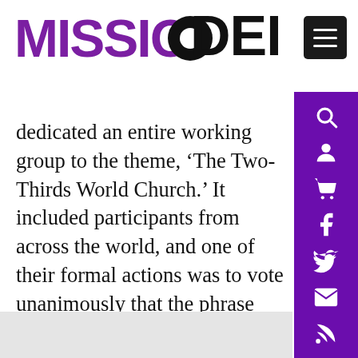MISSIO DEI
dedicated an entire working group to the theme, ‘The Two-Thirds World Church.’ It included participants from across the world, and one of their formal actions was to vote unanimously that the phrase ‘Majority World Church’ be used. This is the best phrase currently available.”
[Figure (infographic): Social sharing icons row: Facebook (blue circle), Twitter (light blue circle), LinkedIn (dark blue circle), Email (red circle)]